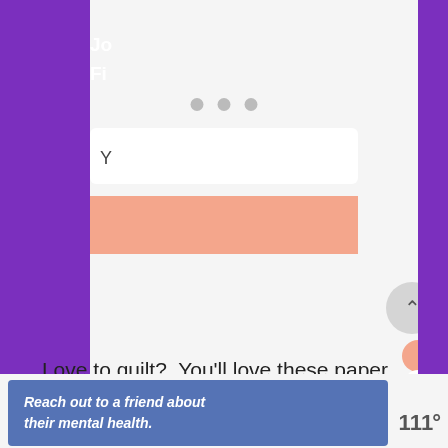[Figure (screenshot): A mobile web screenshot showing a partially visible purple modal dialog with 'Jo...' and 'Fi...' text in white, a white input box, a loading indicator with three dots, and a salmon/coral button. Below the modal is a page with an up-arrow button, a Pinterest-style save icon, main body text about quilting, and a blue banner ad.]
Love to quilt?  You'll love these paper pieced stockings.
Reach out to a friend about their mental health.